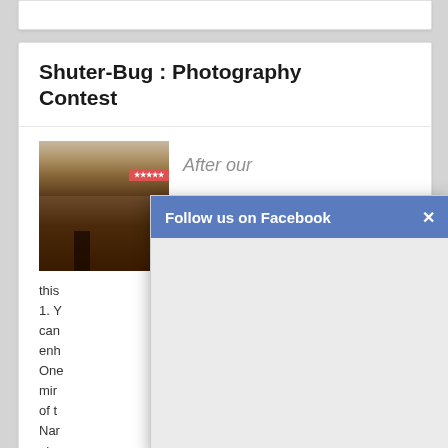Shuter-Bug : Photography Contest
[Figure (photo): A photograph showing a landscape scene with reddish canyon or desert terrain, with a dark silhouette figure visible at the bottom]
After our
this
1. Y
can
enh
One
mir
of t
Nar
pho
fro
[Figure (screenshot): A Facebook follow popup overlay with blue header reading 'Follow us on Facebook' and an X close button, appearing over the page content]